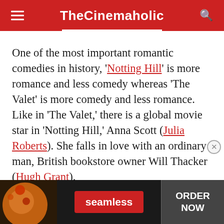TheCinemaholic
One of the most important romantic comedies in history, 'Notting Hill' is more romance and less comedy whereas 'The Valet' is more comedy and less romance. Like in 'The Valet,' there is a global movie star in 'Notting Hill,' Anna Scott (Julia Roberts). She falls in love with an ordinary man, British bookstore owner Will Thacker (Hugh Grant). and later meets his family members, who happily... 'Notting Hill' even has a parallel of Vincent,
[Figure (screenshot): Seamless food delivery advertisement banner with pizza image, Seamless logo button in red, and ORDER NOW text on dark background]